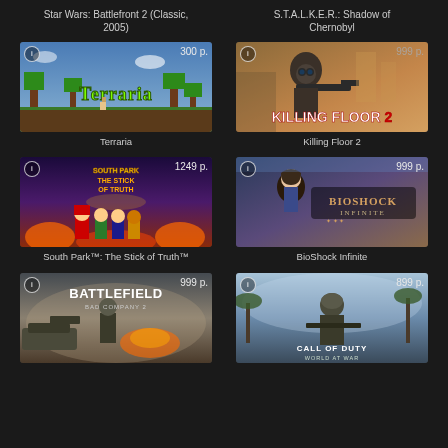Star Wars: Battlefront 2 (Classic, 2005)
S.T.A.L.K.E.R.: Shadow of Chernobyl
[Figure (screenshot): Terraria game cover art showing pixel art landscape with trees and characters, price 300 р.]
Terraria
[Figure (screenshot): Killing Floor 2 game cover art showing soldier with gas mask and gun, price 999 р.]
Killing Floor 2
[Figure (screenshot): South Park: The Stick of Truth game cover art with animated characters, price 1249 р.]
South Park™: The Stick of Truth™
[Figure (screenshot): BioShock Infinite game cover art showing woman and logo, price 999 р.]
BioShock Infinite
[Figure (screenshot): Battlefield: Bad Company 2 game cover art with soldier and explosion, price 999 р.]
[Figure (screenshot): Call of Duty: World at War game cover art with soldier in winter setting, price 899 р.]